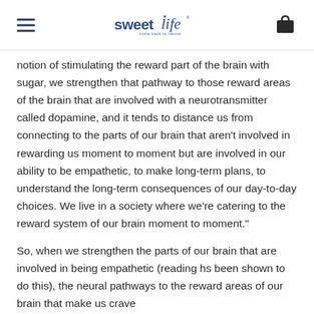sweetlife — come back to nature
notion of stimulating the reward part of the brain with sugar, we strengthen that pathway to those reward areas of the brain that are involved with a neurotransmitter called dopamine, and it tends to distance us from connecting to the parts of our brain that aren't involved in rewarding us moment to moment but are involved in our ability to be empathetic, to make long-term plans, to understand the long-term consequences of our day-to-day choices. We live in a society where we're catering to the reward system of our brain moment to moment."
So, when we strengthen the parts of our brain that are involved in being empathetic (reading hs been shown to do this), the neural pathways to the reward areas of our brain that make us crave